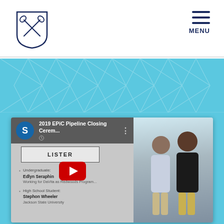[Figure (logo): Shield/crest logo with crossed lacrosse sticks, dark blue outline]
MENU
[Figure (screenshot): YouTube video thumbnail: '2019 EPiC Pipeline Closing Cerem...' with channel icon S, LISTER text box, bullet points listing Undergraduate: Edlyn Seraphin - Working for DaVita as Redwoods Program... and High School Student: Stephon Wheeler - Jackson State University. Red YouTube play button in center. Right half shows photo of two men standing outdoors.]